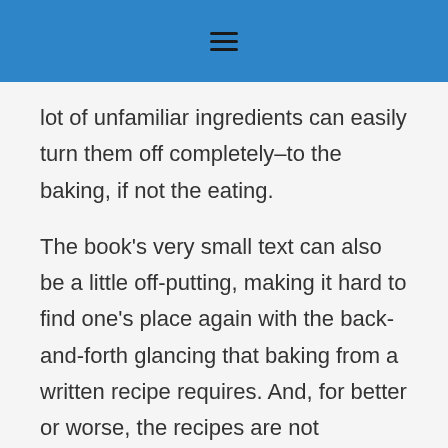≡
lot of unfamiliar ingredients can easily turn them off completely–to the baking, if not the eating.

The book's very small text can also be a little off-putting, making it hard to find one's place again with the back-and-forth glancing that baking from a written recipe requires. And, for better or worse, the recipes are not exclusively wholesome and healthy: we still find a fair amount of sugar, oil, chocolate, and other...